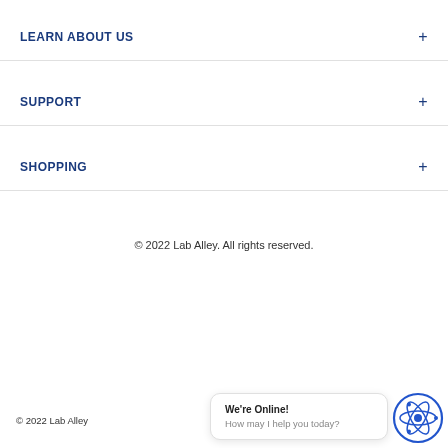LEARN ABOUT US
SUPPORT
SHOPPING
© 2022 Lab Alley. All rights reserved.
© 2022 Lab Alley
We're Online! How may I help you today?
[Figure (logo): Atom/molecule icon in blue circle for Lab Alley chat widget]